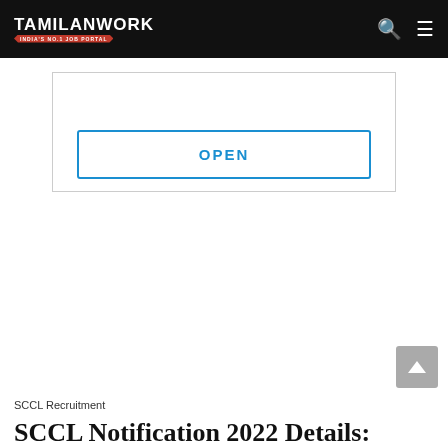TAMILANWORK
[Figure (other): Advertisement box with OPEN button]
SCCL Recruitment
SCCL Notification 2022 Details: